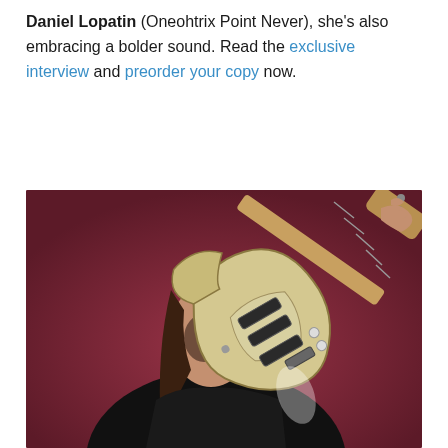Daniel Lopatin (Oneohtrix Point Never), she's also embracing a bolder sound. Read the exclusive interview and preorder your copy now.
[Figure (photo): A young woman with long brown hair holding a cream/gold Stratocaster-style electric guitar against a dark red/maroon background, wearing a black t-shirt, posed looking to the side.]